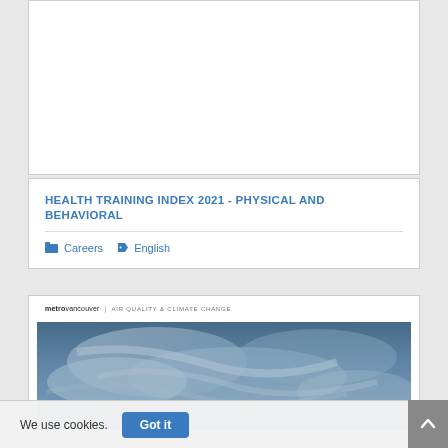[Figure (other): Blank white card area at top of page]
HEALTH TRAINING INDEX 2021 - PHYSICAL AND BEHAVIORAL
Careers
English
[Figure (photo): Metro Vancouver Air Quality & Climate Change document cover showing a cloudy sky image with metrovancouver | AIR QUALITY & CLIMATE CHANGE header text]
We use cookies.
Got it